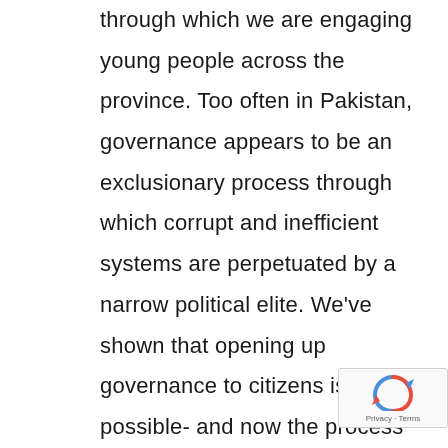through which we are engaging young people across the province. Too often in Pakistan, governance appears to be an exclusionary process through which corrupt and inefficient systems are perpetuated by a narrow political elite. We've shown that opening up governance to citizens is possible- and now the process has started, we're not going to